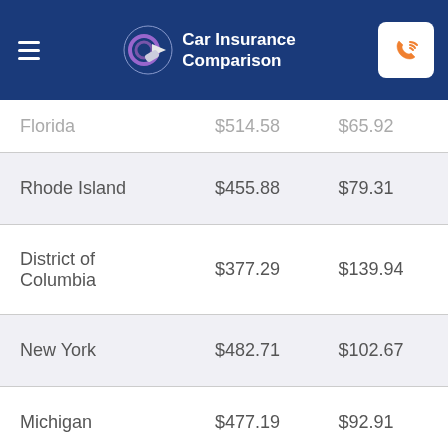Car Insurance Comparison
| State | Monthly Premium | Monthly Min |
| --- | --- | --- |
| Florida | $514.58 | $65.92 |
| Rhode Island | $455.88 | $79.31 |
| District of Columbia | $377.29 | $139.94 |
| New York | $482.71 | $102.67 |
| Michigan | $477.19 | $92.91 |
| New Jersey | $521.74 | $78.81 |
| Louisiana | $465.50 | $129.10 |